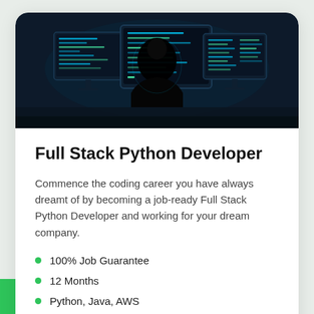[Figure (photo): Dark image of a person silhouetted against multiple computer monitors displaying code, viewed from behind]
Full Stack Python Developer
Commence the coding career you have always dreamt of by becoming a job-ready Full Stack Python Developer and working for your dream company.
100% Job Guarantee
12 Months
Python, Java, AWS
No prior knowledge/experience is necessary
24/7 Personal Mentor